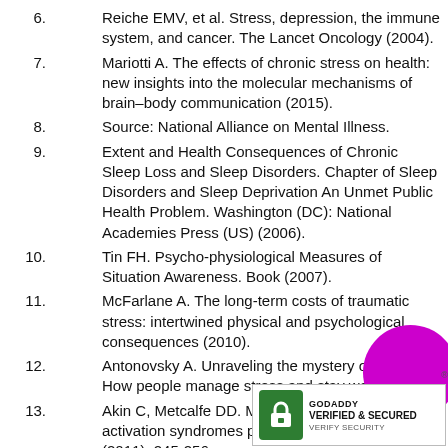6. Reiche EMV, et al. Stress, depression, the immune system, and cancer. The Lancet Oncology (2004).
7. Mariotti A. The effects of chronic stress on health: new insights into the molecular mechanisms of brain–body communication (2015).
8. Source: National Alliance on Mental Illness.
9. Extent and Health Consequences of Chronic Sleep Loss and Sleep Disorders. Chapter of Sleep Disorders and Sleep Deprivation An Unmet Public Health Problem. Washington (DC): National Academies Press (US) (2006).
10. Tin FH. Psycho-physiological Measures of Situation Awareness. Book (2007).
11. McFarlane A. The long-term costs of traumatic stress: intertwined physical and psychological consequences (2010).
12. Antonovsky A. Unraveling the mystery of health: How people manage stress and stay well (1987).
13. Akin C, Metcalfe DD. Mastocytosis and mast cell activation syndromes presenting as anaphylaxis (2011): 245-256.
14. Gordan R, et al. Autonomic and endocrine cardiac function (2015).
[Figure (logo): GoDaddy Verified & Secured badge with green padlock icon and magenta circle decoration]